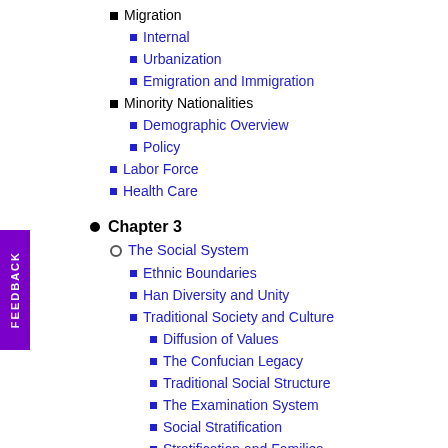Migration
Internal
Urbanization
Emigration and Immigration
Minority Nationalities
Demographic Overview
Policy
Labor Force
Health Care
Chapter 3
The Social System
Ethnic Boundaries
Han Diversity and Unity
Traditional Society and Culture
Diffusion of Values
The Confucian Legacy
Traditional Social Structure
The Examination System
Social Stratification
Stratification and Families
Social Mobility
Social Change
Differentiation
The Work Place
Communist Party Membership